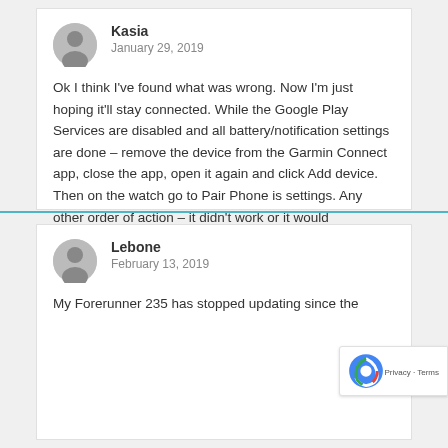Kasia
January 29, 2019
Ok I think I've found what was wrong. Now I'm just hoping it'll stay connected. While the Google Play Services are disabled and all battery/notification settings are done – remove the device from the Garmin Connect app, close the app, open it again and click Add device. Then on the watch go to Pair Phone is settings. Any other order of action – it didn't work or it would disconnect straight after I've enabled Google Play Services again or when the Garmin Connect app is closed.
Reply ↓
Lebone
February 13, 2019
My Forerunner 235 has stopped updating since the